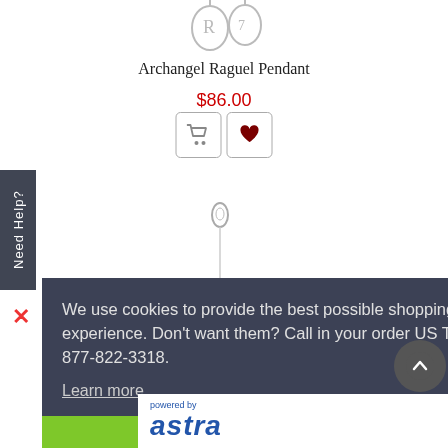[Figure (photo): Small pendant/jewelry image at top, partially cropped]
Archangel Raguel Pendant
$86.00
[Figure (illustration): Add to cart and add to wishlist buttons (shopping cart icon and heart icon)]
[Figure (photo): Pendant chain image, partially visible]
Need Help?
We use cookies to provide the best possible shopping experience. Don't want them? Call in your order US Toll Free 877-822-3318.
Learn more
Got it!
[Figure (logo): Powered by Astra logo]
[Figure (illustration): Back to top arrow button]